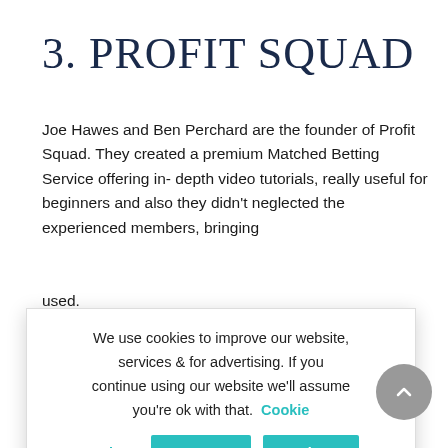3. PROFIT SQUAD
Joe Hawes and Ben Perchard are the founder of Profit Squad. They created a premium Matched Betting Service offering in-depth video tutorials, really useful for beginners and also they didn't neglected the experienced members, bringing [content partially obscured] e used. [content partially obscured] s earn at least [content partially obscured] s of subscribing. [content partially obscured] s, but believe us, [content partially obscured] o-by-step [content partially obscured] ts, then they're [content partially obscured] n
We use cookies to improve our website, services & for advertising. If you continue using our website we'll assume you're ok with that. Cookie settings Accept Reject